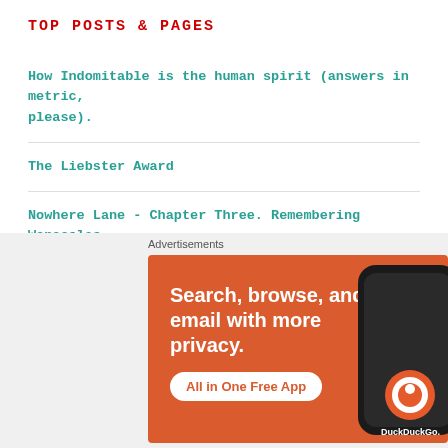TOP POSTS & PAGES
How Indomitable is the human spirit (answers in metric, please).
The Liebster Award
Nowhere Lane - Chapter Three. Remembering Wenceslas
'Summer' is here!
[Figure (screenshot): DuckDuckGo advertisement banner: orange background with white text 'Search, browse, and email with more privacy. All in One Free App' with a phone graphic and DuckDuckGo logo]
Advertisements